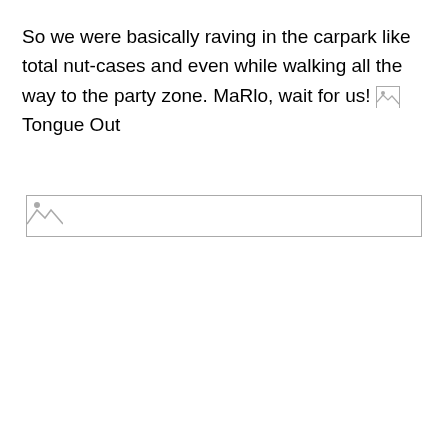So we were basically raving in the carpark like total nut-cases and even while walking all the way to the party zone. MaRlo, wait for us! [Tongue Out emoji] Tongue Out
[Figure (other): Broken image placeholder — large image that failed to load, shown as a bordered rectangle with a small broken image icon in the top-left corner]